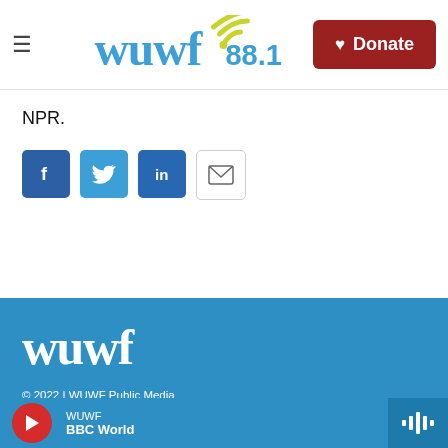WUWF 88.1 — Donate
NPR.
[Figure (other): Social share icons: Facebook, Twitter, LinkedIn, Email]
[Figure (logo): WUWF logo in white on blue footer background]
© 2022 | WUWF Public Media
11000 University Parkway
Pensacola, FL 32514
850 474-2787
WUWF — BBC World